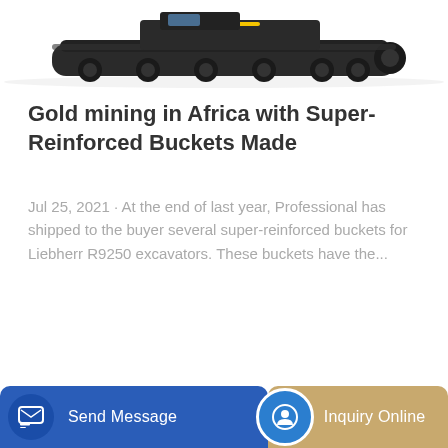[Figure (photo): Top portion of a tracked excavator machine on white background]
Gold mining in Africa with Super-Reinforced Buckets Made
Jul 25, 2021 · At the end of last year, Professional has shipped to the buyer several super-reinforced buckets for Liebherr R9250 excavators. These buckets have the...
Learn More
[Figure (photo): Yellow and grey mini excavator machine, partial view]
Send Message
Inquiry Online